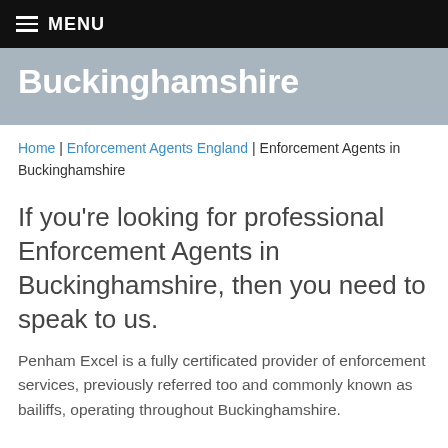≡ MENU
Buckinghamshire
Home | Enforcement Agents England | Enforcement Agents in Buckinghamshire
If you're looking for professional Enforcement Agents in Buckinghamshire, then you need to speak to us.
Penham Excel is a fully certificated provider of enforcement services, previously referred too and commonly known as bailiffs, operating throughout Buckinghamshire.